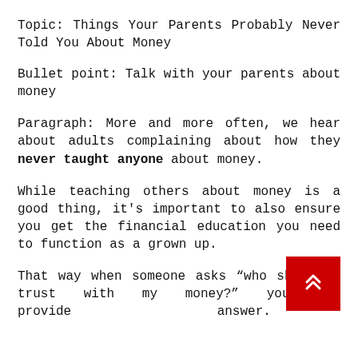Topic: Things Your Parents Probably Never Told You About Money
Bullet point: Talk with your parents about money
Paragraph: More and more often, we hear about adults complaining about how they never taught anyone about money.
While teaching others about money is a good thing, it's important to also ensure you get the financial education you need to function as a grown up.
That way when someone asks “who should I trust with my money?” you can provide answer.